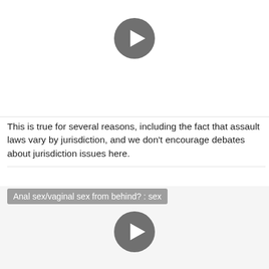[Figure (screenshot): Video player placeholder with circular play button (dark gray circle with white triangle) on white background]
This is true for several reasons, including the fact that assault laws vary by jurisdiction, and we don't encourage debates about jurisdiction issues here.
Anal sex/vaginal sex from behind? : sex
[Figure (screenshot): Video player placeholder with circular play button (dark gray circle with white triangle) on light gray background]